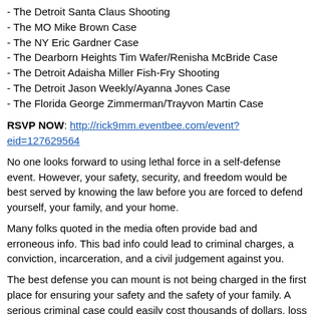- The Detroit Santa Claus Shooting
- The MO Mike Brown Case
- The NY Eric Gardner Case
- The Dearborn Heights Tim Wafer/Renisha McBride Case
- The Detroit Adaisha Miller Fish-Fry Shooting
- The Detroit Jason Weekly/Ayanna Jones Case
- The Florida George Zimmerman/Trayvon Martin Case
RSVP NOW: http://rick9mm.eventbee.com/event?eid=127629564
No one looks forward to using lethal force in a self-defense event. However, your safety, security, and freedom would be best served by knowing the law before you are forced to defend yourself, your family, and your home.
Many folks quoted in the media often provide bad and erroneous info. This bad info could lead to criminal charges, a conviction, incarceration, and a civil judgement against you.
The best defense you can mount is not being charged in the first place for ensuring your safety and the safety of your family. A serious criminal case could easily cost thousands of dollars, loss of time from work, and unbearable stress associated with the lack of certainty about your future. This seminar can save you time, money, and your future.
RSVP NOW: http://rick9mm.eventbee.com/event?eid=127629564